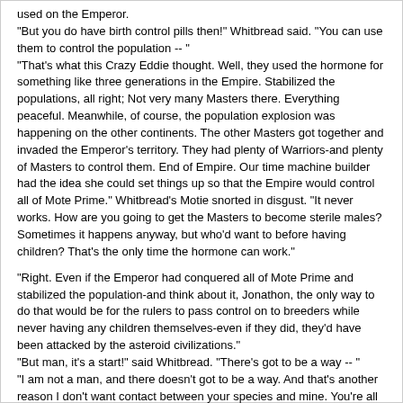used on the Emperor.
"But you do have birth control pills then!" Whitbread said. "You can use them to control the population -- "
"That's what this Crazy Eddie thought. Well, they used the hormone for something like three generations in the Empire. Stabilized the populations, all right; Not very many Masters there. Everything peaceful. Meanwhile, of course, the population explosion was happening on the other continents. The other Masters got together and invaded the Emperor's territory. They had plenty of Warriors-and plenty of Masters to control them. End of Empire. Our time machine builder had the idea she could set things up so that the Empire would control all of Mote Prime." Whitbread's Motie snorted in disgust. "It never works. How are you going to get the Masters to become sterile males? Sometimes it happens anyway, but who'd want to before having children? That's the only time the hormone can work."

"Right. Even if the Emperor had conquered all of Mote Prime and stabilized the population-and think about it, Jonathon, the only way to do that would be for the rulers to pass control on to breeders while never having any children themselves-even if they did, they'd have been attacked by the asteroid civilizations."
"But man, it's a start!" said Whitbread. "There's got to be a way -- "
"I am not a man, and there doesn't got to be a way. And that's another reason I don't want contact between your species and mine. You're all Crazy Eddies. You think every problem has a solution."
"All human problems hae at least one final solution," Gavin Potter said softly from the seat behind them.
"Human, perhaps," the alien said. "But do Moties have souls?"
"'Tis nae for me to say," Potter answered. He shifted uncomfortably in his seat. "I am no a spokesman for the Lord."
"It isn't for your chaplain to say either. How can you expect to find out? It would take revealed knowledge-a divine inspiration, wouldn't it? I doubt if you'll get it."
"Hae ye nae religion at all, then?" Potter asked incredulously.
"We've had thousands, Gavin. The Browns and other semisentient classes don't change theirs much, but every civilization of Masters produces something else. Mostly they're variants of transmigration of souls, with emphasis on survival through children. You can see why."
"You didn't mention Mediators," Whitbread said.
"I told you-we don't have children. There are Mediators who accept the